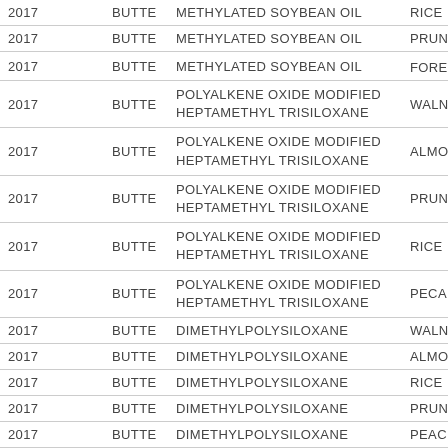| Year | County | Ingredient | Crop |
| --- | --- | --- | --- |
| 2017 | BUTTE | METHYLATED SOYBEAN OIL | RICE |
| 2017 | BUTTE | METHYLATED SOYBEAN OIL | PRUNE |
| 2017 | BUTTE | METHYLATED SOYBEAN OIL | FOREST, TI... |
| 2017 | BUTTE | POLYALKENE OXIDE MODIFIED HEPTAMETHYL TRISILOXANE | WALNUT |
| 2017 | BUTTE | POLYALKENE OXIDE MODIFIED HEPTAMETHYL TRISILOXANE | ALMOND |
| 2017 | BUTTE | POLYALKENE OXIDE MODIFIED HEPTAMETHYL TRISILOXANE | PRUNE |
| 2017 | BUTTE | POLYALKENE OXIDE MODIFIED HEPTAMETHYL TRISILOXANE | RICE |
| 2017 | BUTTE | POLYALKENE OXIDE MODIFIED HEPTAMETHYL TRISILOXANE | PECAN |
| 2017 | BUTTE | DIMETHYLPOLYSILOXANE | WALNUT |
| 2017 | BUTTE | DIMETHYLPOLYSILOXANE | ALMOND |
| 2017 | BUTTE | DIMETHYLPOLYSILOXANE | RICE |
| 2017 | BUTTE | DIMETHYLPOLYSILOXANE | PRUNE |
| 2017 | BUTTE | DIMETHYLPOLYSILOXANE | PEACH |